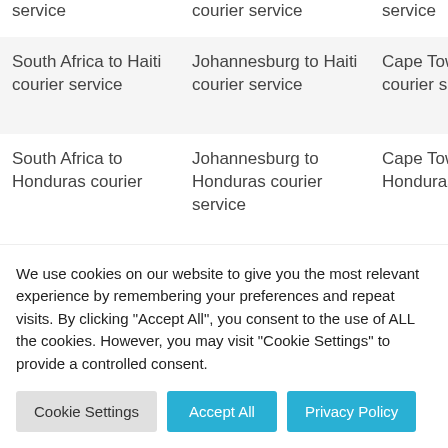| service | courier service | service | ser... |
| South Africa to Haiti courier service | Johannesburg to Haiti courier service | Cape Town to Haiti courier service | Dur... Hait... serv... |
| South Africa to Honduras courier | Johannesburg to Honduras courier service | Cape Town to Honduras courier | Dur... Hon... cou... |
We use cookies on our website to give you the most relevant experience by remembering your preferences and repeat visits. By clicking "Accept All", you consent to the use of ALL the cookies. However, you may visit "Cookie Settings" to provide a controlled consent.